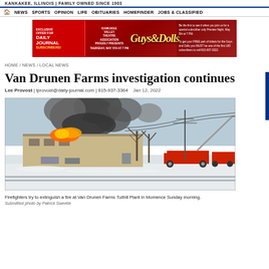KANKAKEE, ILLINOIS | FAMILY OWNED SINCE 1903
NEWS | SPORTS | OPINION | LIFE | OBITUARIES | HOMEFINDER | JOBS & CLASSIFIED
[Figure (infographic): Advertisement for Kankakee Valley Theatre Association production of Guys and Dolls, Thursday May 5th at 7 PM, exclusive offer for Daily Journal Subscribers]
HOME / NEWS / LOCAL NEWS
Van Drunen Farms investigation continues
Lee Provost | lprovost@daily-journal.com | 815-937-3364  Jan 12, 2022
[Figure (photo): Firefighters try to extinguish a fire at Van Drunen Farms Tuthill Plant in Momence Sunday morning. Fire trucks visible with smoke billowing in snowy winter scene.]
Firefighters try to extinguish a fire at Van Drunen Farms Tuthill Plant in Momence Sunday morning.
Submitted photo by Patrick Sweetie